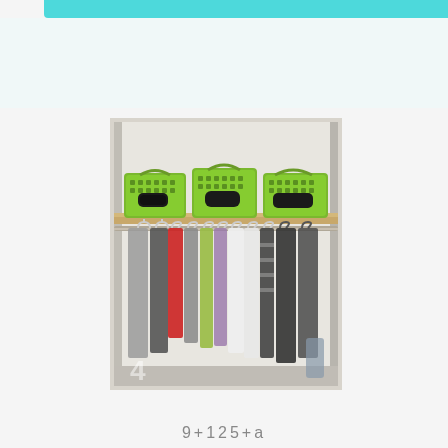[Figure (photo): A closet with three green plastic storage baskets on the top shelf, and many clothes on hangers hanging on a wooden rod below. Clothes include various colors like grey, red, yellow, white, and dark items. A number '4' watermark is visible at the bottom left of the photo.]
9+125+a